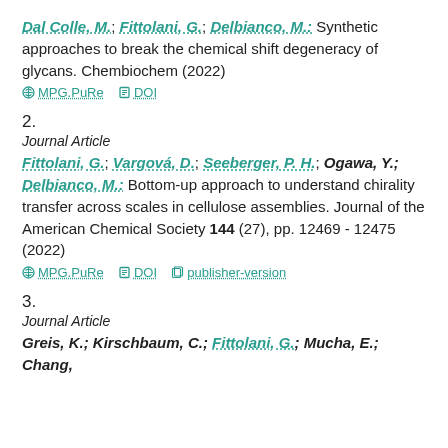Dal Colle, M.; Fittolani, G.; Delbianco, M.: Synthetic approaches to break the chemical shift degeneracy of glycans. Chembiochem (2022)
MPG.PuRe   DOI
2.
Journal Article
Fittolani, G.; Vargová, D.; Seeberger, P. H.; Ogawa, Y.; Delbianco, M.: Bottom-up approach to understand chirality transfer across scales in cellulose assemblies. Journal of the American Chemical Society 144 (27), pp. 12469 - 12475 (2022)
MPG.PuRe   DOI   publisher-version
3.
Journal Article
Greis, K.; Kirschbaum, C.; Fittolani, G.; Mucha, E.; Chang,